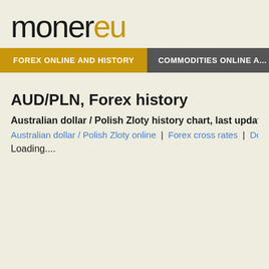monereu
FOREX ONLINE AND HISTORY | COMMODITIES ONLINE A...
AUD/PLN, Forex history
Australian dollar / Polish Zloty history chart, last update Aug. 1
Australian dollar / Polish Zloty online | Forex cross rates | Dollar / All cur...
Loading....